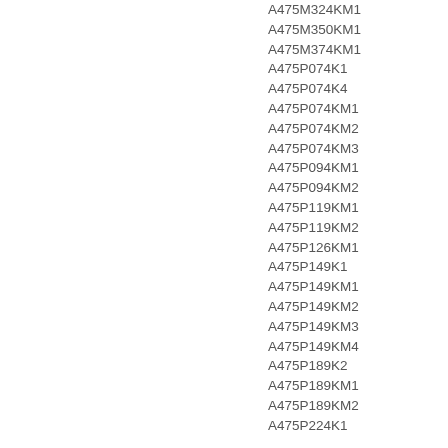A475M324KM1
A475M350KM1
A475M374KM1
A475P074K1
A475P074K4
A475P074KM1
A475P074KM2
A475P074KM3
A475P094KM1
A475P094KM2
A475P119KM1
A475P119KM2
A475P126KM1
A475P149K1
A475P149KM1
A475P149KM2
A475P149KM3
A475P149KM4
A475P189K2
A475P189KM1
A475P189KM2
A475P224K1